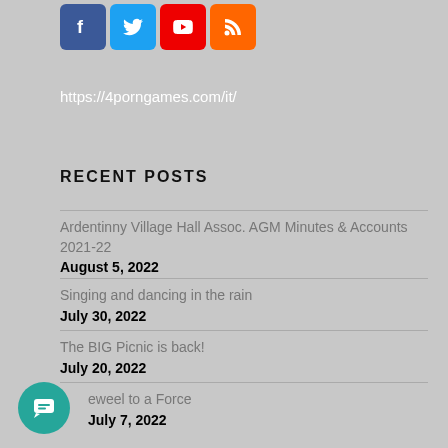[Figure (illustration): Social media icons: Facebook (blue), Twitter (light blue), YouTube (red), RSS (orange)]
https://4porngames.com/it/
RECENT POSTS
Ardentinny Village Hall Assoc. AGM Minutes & Accounts 2021-22
August 5, 2022
Singing and dancing in the rain
July 30, 2022
The BIG Picnic is back!
July 20, 2022
...eweel to a Force
July 7, 2022